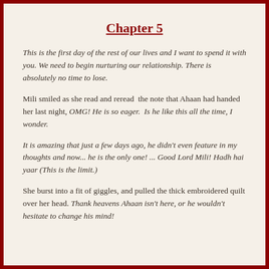Chapter 5
This is the first day of the rest of our lives and I want to spend it with you. We need to begin nurturing our relationship. There is absolutely no time to lose.
Mili smiled as she read and reread  the note that Ahaan had handed her last night, OMG! He is so eager.  Is he like this all the time, I wonder.
It is amazing that just a few days ago, he didn't even feature in my thoughts and now... he is the only one! ... Good Lord Mili! Hadh hai yaar (This is the limit.)
She burst into a fit of giggles, and pulled the thick embroidered quilt over her head. Thank heavens Ahaan isn't here, or he wouldn't hesitate to change his mind!